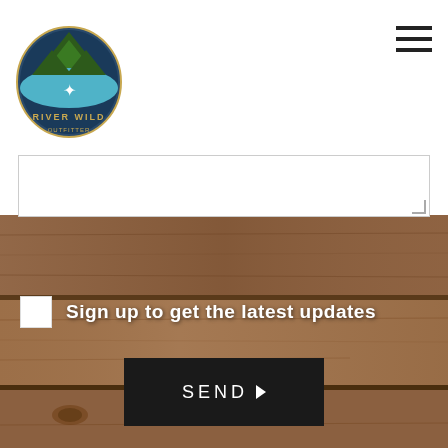[Figure (logo): River Wild Outfitter logo with pine trees and water emblem]
Sign up to get the latest updates
SEND ▶
SIGN UP FOR THE LATEST UPDATES
POWERED BY BENTOBOX